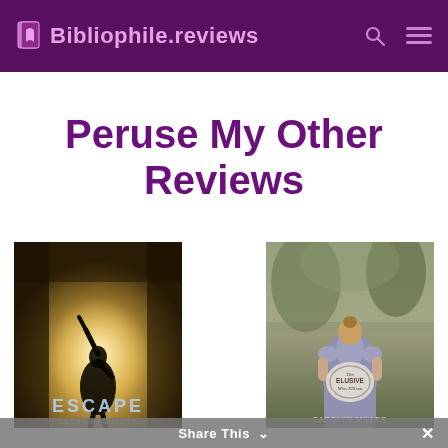Bibliophile.reviews
Peruse My Other Reviews
[Figure (photo): Book cover: ESCAPE by Glenn Haggerty — silhouette of a person with arms raised against bright light]
[Figure (photo): Book cover: The Elusive Miss Ellison by Carolyn Miller — woman in period dress seen from behind in wooded setting]
Share This ×